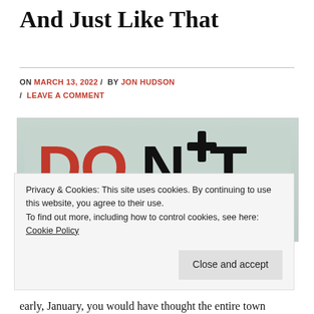And Just Like That
ON MARCH 13, 2022 / BY JON HUDSON / LEAVE A COMMENT
[Figure (photo): A sign showing the words 'DON'T QUIT' in large block letters, with 'DO' and 'T' in red and 'N' and 'QUI' in black, against a grey sky background.]
Privacy & Cookies: This site uses cookies. By continuing to use this website, you agree to their use.
To find out more, including how to control cookies, see here: Cookie Policy
Close and accept
early, January, you would have thought the entire town